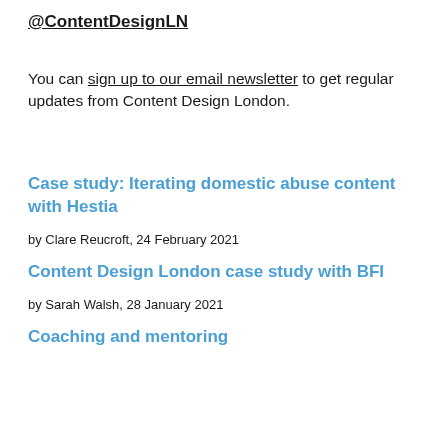@ContentDesignLN
You can sign up to our email newsletter to get regular updates from Content Design London.
Case study: Iterating domestic abuse content with Hestia
by Clare Reucroft, 24 February 2021
Content Design London case study with BFI
by Sarah Walsh, 28 January 2021
Coaching and mentoring